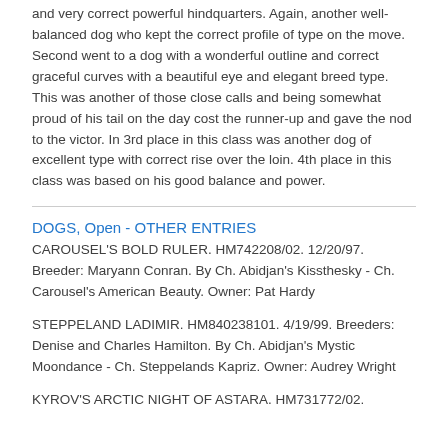and very correct powerful hindquarters. Again, another well-balanced dog who kept the correct profile of type on the move. Second went to a dog with a wonderful outline and correct graceful curves with a beautiful eye and elegant breed type. This was another of those close calls and being somewhat proud of his tail on the day cost the runner-up and gave the nod to the victor. In 3rd place in this class was another dog of excellent type with correct rise over the loin. 4th place in this class was based on his good balance and power.
DOGS, Open - OTHER ENTRIES
CAROUSEL'S BOLD RULER. HM742208/02. 12/20/97. Breeder: Maryann Conran. By Ch. Abidjan's Kissthesky - Ch. Carousel's American Beauty. Owner: Pat Hardy
STEPPELAND LADIMIR. HM840238101. 4/19/99. Breeders: Denise and Charles Hamilton. By Ch. Abidjan's Mystic Moondance - Ch. Steppelands Kapriz. Owner: Audrey Wright
KYROV'S ARCTIC NIGHT OF ASTARA. HM731772/02.